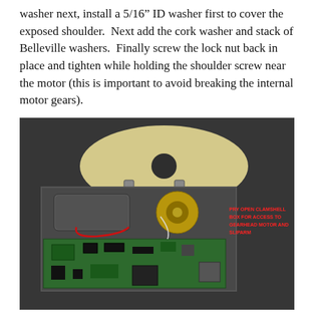washer next, install a 5/16" ID washer first to cover the exposed shoulder.  Next add the cork washer and stack of Belleville washers.  Finally screw the lock nut back in place and tighten while holding the shoulder screw near the motor (this is important to avoid breaking the internal motor gears).
[Figure (photo): Photograph of an open clamshell electronics box showing a gearhead motor, a circular disk/plate on top, a green PCB circuit board at the bottom, and red annotation text reading 'PRY OPEN CLAMSHELL BOX FOR ACCESS TO GEARHEAD MOTOR AND SLIPARM']
Step 1 – Pry open clamshell